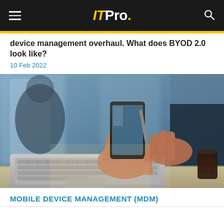ITPro.
device management overhaul. What does BYOD 2.0 look like?
10 Feb 2022
[Figure (photo): Close-up photo of a person's hands holding a smartphone with a stylus, with a laptop keyboard visible in the foreground and a blurred office background.]
MOBILE DEVICE MANAGEMENT (MDM)